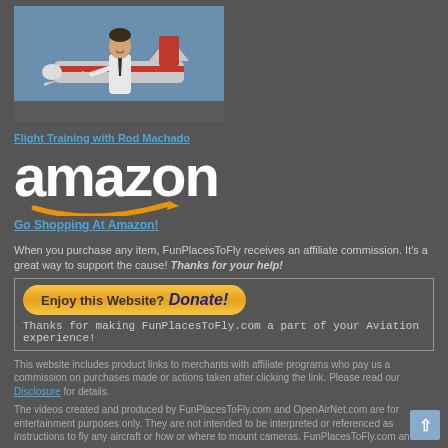[Figure (photo): Man in white shirt and tie standing in front of a red and white aircraft at an airport]
Flight Training with Rod Machado
[Figure (logo): Amazon logo - white amazon text with orange arrow swoosh underneath]
Go Shopping At Amazon!
When you purchase any item, FunPlacesToFly receives an affiliate commission. It's a great way to support the cause! Thanks for your help!
Enjoy this Website? Donate!
Thanks for making FunPlacesToFly.com a part of your Aviation experience!
This website includes product links to merchants with affiliate programs who pay us a commission on purchases made or actions taken after clicking the link. Please read our Disclosure for details.
The videos created and produced by FunPlacesToFly.com and OpenAirNet.com are for entertainment purposes only. They are not intended to be interpreted or referenced as instructions to fly any aircraft or how or where to mount cameras. FunPlacesToFly.com an